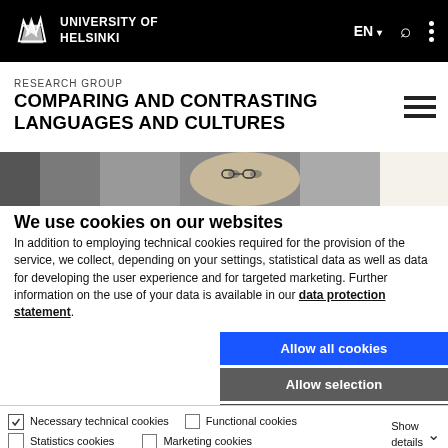UNIVERSITY OF HELSINKI
RESEARCH GROUP
COMPARING AND CONTRASTING LANGUAGES AND CULTURES
[Figure (photo): Cropped photograph of an elderly person wearing glasses, shown in a horizontal strip]
We use cookies on our websites
In addition to employing technical cookies required for the provision of the service, we collect, depending on your settings, statistical data as well as data for developing the user experience and for targeted marketing. Further information on the use of your data is available in our data protection statement.
Allow all cookies
Allow selection
Use necessary cookies only
Necessary technical cookies | Functional cookies | Statistics cookies | Marketing cookies | Show details